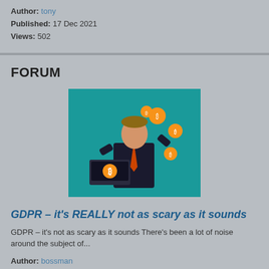Author: tony
Published: 17 Dec 2021
Views: 502
FORUM
[Figure (illustration): Illustration of a businessman in a suit with orange tie juggling bitcoin/coin icons, with a laptop showing a Bitcoin symbol, on a teal background]
GDPR – it's REALLY not as scary as it sounds
GDPR – it's not as scary as it sounds There's been a lot of noise around the subject of...
Author: bossman
Published: 15 Dec 2021
Views: 461
BLOG
[Figure (illustration): Partial silhouette illustration of two people in conversation, partially cut off at bottom of page]